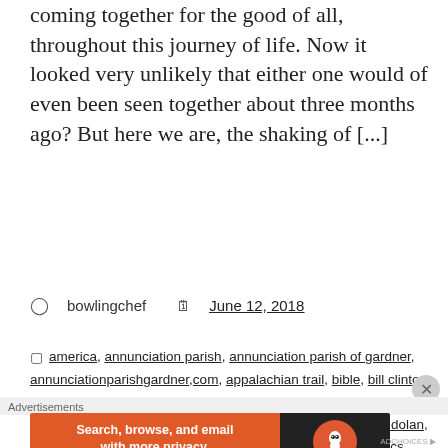coming together for the good of all, throughout this journey of life. Now it looked very unlikely that either one would of even been seen together about three months ago? But here we are, the shaking of [...]
bowlingchef   June 12, 2018
america, annunciation parish, annunciation parish of gardner, annunciationparishgardner,com, appalachian trail, bible, bill clinton, bill gates, blake shelton, blogging, boston, boston magazine, bostons title town talk, bowlingchef, camping world, cardinal dolan, cardinal sean, catholic church, catholicfreepress.org, Catholics, christianity, christians, church of god, church of jesus christ, cnn, control of ourselves, culture, daily prayer, donald trump, evolution of man, ewtn
[Figure (screenshot): DuckDuckGo advertisement banner: orange left section with text 'Search, browse, and email with more privacy. All in One Free App', dark right section with DuckDuckGo logo circle]